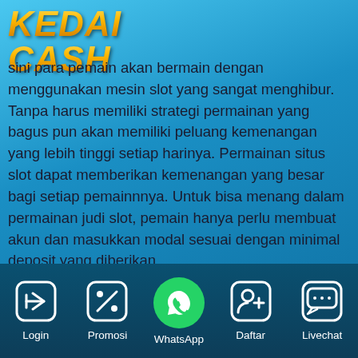[Figure (logo): KEDAI CASH logo in gold italic bold text on blue background]
sini para pemain akan bermain dengan menggunakan mesin slot yang sangat menghibur. Tanpa harus memiliki strategi permainan yang bagus pun akan memiliki peluang kemenangan yang lebih tinggi setiap harinya. Permainan situs slot dapat memberikan kemenangan yang besar bagi setiap pemainnnya. Untuk bisa menang dalam permainan judi slot, pemain hanya perlu membuat akun dan masukkan modal sesuai dengan minimal deposit yang diberikan.
KEDAICASH hadir memberikan layanan permainan judi slot online dengan kualitas terbaik. Ratusan jenis
[Figure (infographic): Bottom navigation bar with icons: Login (arrow/login icon), Promosi (percent icon), WhatsApp (green circle with phone icon), Daftar (add person icon), Livechat (chat bubble icon)]